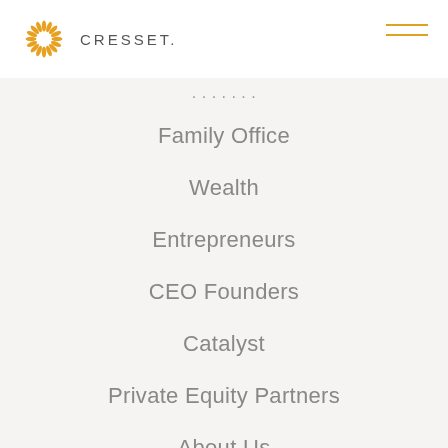[Figure (logo): Cresset logo with sunburst icon and CRESSET wordmark]
[partial navigation item obscured]
Family Office
Wealth
Entrepreneurs
CEO Founders
Catalyst
Private Equity Partners
About Us